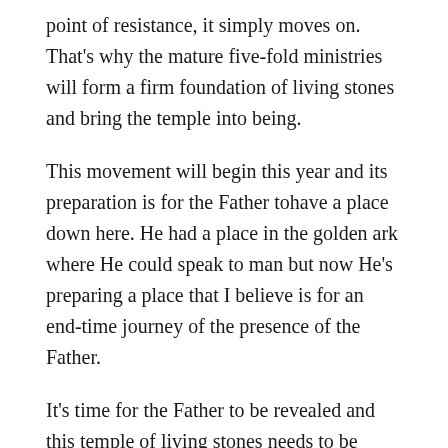point of resistance, it simply moves on. That's why the mature five-fold ministries will form a firm foundation of living stones and bring the temple into being.
This movement will begin this year and its preparation is for the Father tohave a place down here. He had a place in the golden ark where He could speak to man but now He's preparing a place that I believe is for an end-time journey of the presence of the Father.
It's time for the Father to be revealed and this temple of living stones needs to be completed before the Father is revealed. This is the temple of living stones